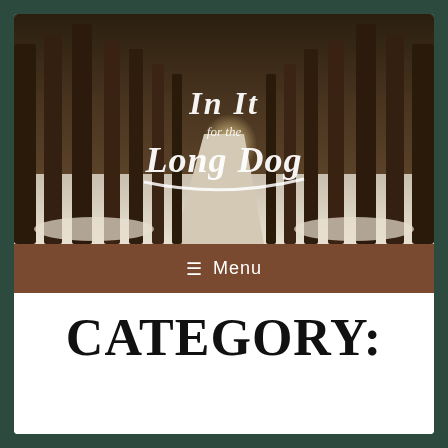[Figure (photo): A snowy forest path lined with tall dark tree trunks, with light visible at the end. Overlaid in white script text: 'In It for the Long Dog']
☰ Menu
CATEGORY: